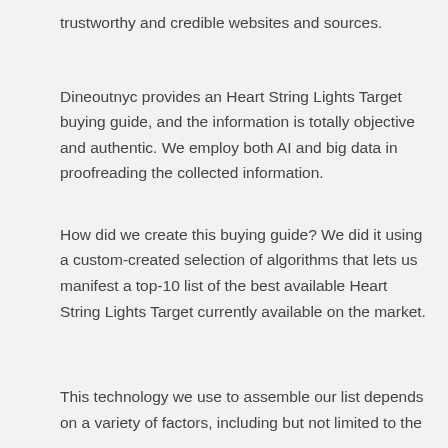trustworthy and credible websites and sources.
Dineoutnyc provides an Heart String Lights Target buying guide, and the information is totally objective and authentic. We employ both AI and big data in proofreading the collected information.
How did we create this buying guide? We did it using a custom-created selection of algorithms that lets us manifest a top-10 list of the best available Heart String Lights Target currently available on the market.
This technology we use to assemble our list depends on a variety of factors, including but not limited to the